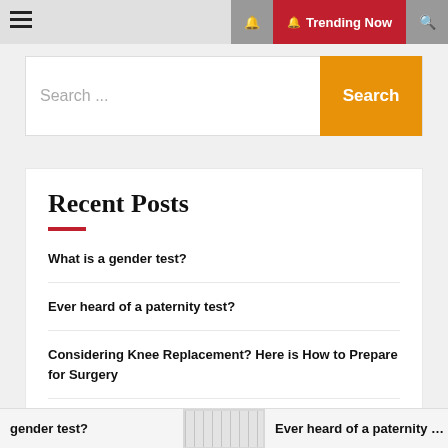≡  🔔  Trending Now  🔍
Search ...
Recent Posts
What is a gender test?
Ever heard of a paternity test?
Considering Knee Replacement? Here is How to Prepare for Surgery
Effect of vaping on health
gender test?   Ever heard of a paternity te...